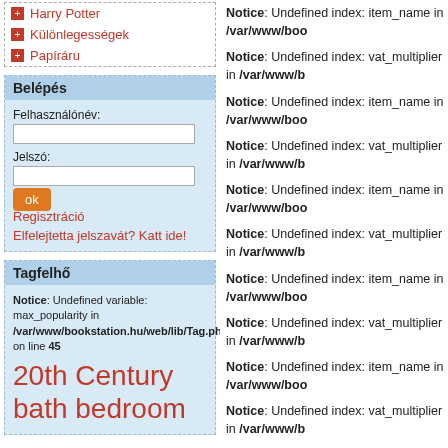Harry Potter
Különlegességek
Papíráru
Belépés
Felhasználónév:
Jelszó:
ok
Regisztráció
Elfelejtette jelszavát? Katt ide!
Tagfelhő
Notice: Undefined variable: max_popularity in /var/www/bookstation.hu/web/lib/Tag.php on line 45
20th Century bath bedroom
Notice: Undefined index: item_name in /var/www/boo
Notice: Undefined index: vat_multiplier in /var/www/b
Notice: Undefined index: item_name in /var/www/boo
Notice: Undefined index: vat_multiplier in /var/www/b
Notice: Undefined index: item_name in /var/www/boo
Notice: Undefined index: vat_multiplier in /var/www/b
Notice: Undefined index: item_name in /var/www/boo
Notice: Undefined index: vat_multiplier in /var/www/b
Notice: Undefined index: item_name in /var/www/boo
Notice: Undefined index: vat_multiplier in /var/www/b
Notice: Undefined index: item_name in /var/www/boo
Notice: Undefined index: vat_multiplier in /var/www/b
Notice: Undefined index: item_name in /var/www/boo
Notice: Undefined index: vat_multiplier in /var/www/b
Notice: Undefined index: item_name in /var/www/boo
Notice: Undefined index: vat_multiplier in /var/www/b
Notice: Undefined index: item_name in /var/www/boo
Notice: Undefined index: vat_multiplier in /var/www/b
Notice: Undefined index: item_name in /var/www/boo